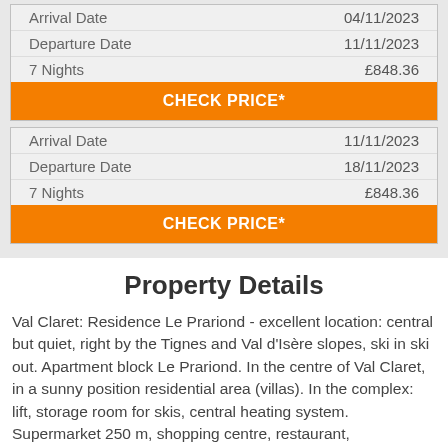|  |  |
| --- | --- |
| Arrival Date | 04/11/2023 |
| Departure Date | 11/11/2023 |
| 7 Nights | £848.36 |
CHECK PRICE*
|  |  |
| --- | --- |
| Arrival Date | 11/11/2023 |
| Departure Date | 18/11/2023 |
| 7 Nights | £848.36 |
CHECK PRICE*
Property Details
Val Claret: Residence Le Prariond - excellent location: central but quiet, right by the Tignes and Val d'Isère slopes, ski in ski out. Apartment block Le Prariond. In the centre of Val Claret, in a sunny position residential area (villas). In the complex: lift, storage room for skis, central heating system. Supermarket 250 m, shopping centre, restaurant,